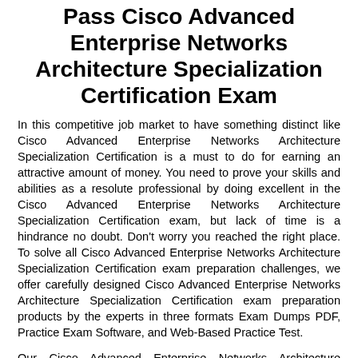Pass Cisco Advanced Enterprise Networks Architecture Specialization Certification Exam
In this competitive job market to have something distinct like Cisco Advanced Enterprise Networks Architecture Specialization Certification is a must to do for earning an attractive amount of money. You need to prove your skills and abilities as a resolute professional by doing excellent in the Cisco Advanced Enterprise Networks Architecture Specialization Certification exam, but lack of time is a hindrance no doubt. Don't worry you reached the right place. To solve all Cisco Advanced Enterprise Networks Architecture Specialization Certification exam preparation challenges, we offer carefully designed Cisco Advanced Enterprise Networks Architecture Specialization Certification exam preparation products by the experts in three formats Exam Dumps PDF, Practice Exam Software, and Web-Based Practice Test.
Our Cisco Advanced Enterprise Networks Architecture Specialization Certification preparation material not only helps to get familiar with the actual Cisco exam environment but comes with